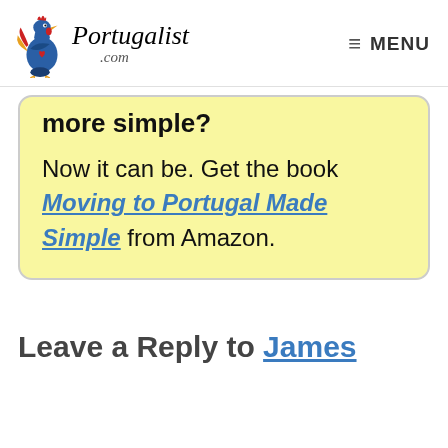Portugalist .com   ≡ MENU
more simple?

Now it can be. Get the book Moving to Portugal Made Simple from Amazon.
Leave a Reply to James